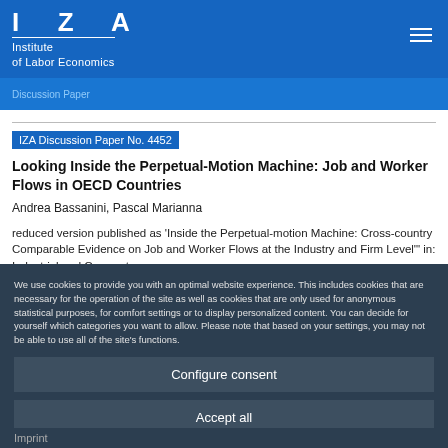IZA Institute of Labor Economics
Discussion Paper
IZA Discussion Paper No. 4452
Looking Inside the Perpetual-Motion Machine: Job and Worker Flows in OECD Countries
Andrea Bassanini, Pascal Marianna
reduced version published as 'Inside the Perpetual-motion Machine: Cross-country Comparable Evidence on Job and Worker Flows at the Industry and Firm Level' in: Industrial and Corporate
We use cookies to provide you with an optimal website experience. This includes cookies that are necessary for the operation of the site as well as cookies that are only used for anonymous statistical purposes, for comfort settings or to display personalized content. You can decide for yourself which categories you want to allow. Please note that based on your settings, you may not be able to use all of the site's functions.
Configure consent
Accept all
Imprint